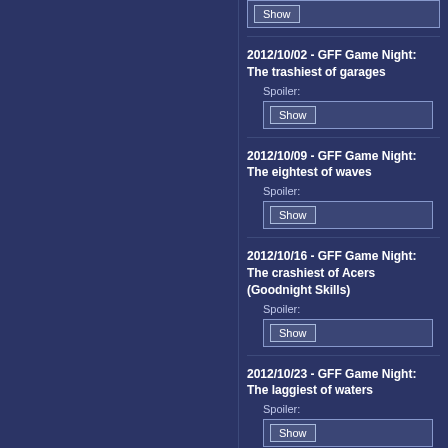[Figure (screenshot): Show button UI element at top, partially visible]
2012/10/02 - GFF Game Night: The trashiest of garages
Spoiler:
[Figure (screenshot): Show button UI element]
2012/10/09 - GFF Game Night: The eightest of waves
Spoiler:
[Figure (screenshot): Show button UI element]
2012/10/16 - GFF Game Night: The crashiest of Acers (Goodnight Skills)
Spoiler:
[Figure (screenshot): Show button UI element]
2012/10/23 - GFF Game Night: The laggiest of waters
Spoiler:
[Figure (screenshot): Show button UI element, partially visible at bottom]